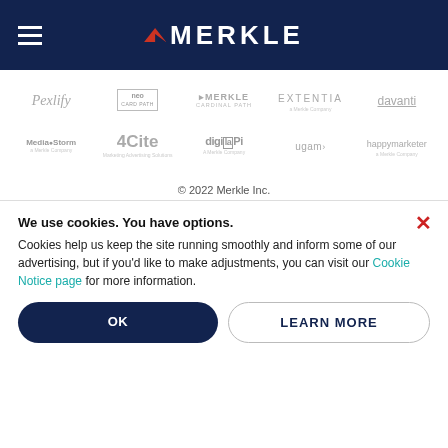[Figure (logo): Merkle navigation header bar with hamburger menu icon and Merkle logo in white on dark navy background]
[Figure (logo): Row of partner/subsidiary logos: Pexlify, neo (in box), Merkle Cardinal Path, EXTENTIA, davanti]
[Figure (logo): Row of partner/subsidiary logos: Media Storm, 4Cite, digitalPi, ugam, happymarketer]
© 2022 Merkle Inc.
We use cookies. You have options. Cookies help us keep the site running smoothly and inform some of our advertising, but if you'd like to make adjustments, you can visit our Cookie Notice page for more information.
OK
LEARN MORE